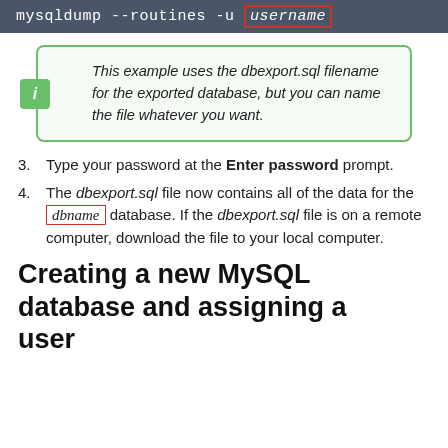[Figure (screenshot): Dark gray code bar showing: mysqldump --routines -u username (with username highlighted in red border)]
This example uses the dbexport.sql filename for the exported database, but you can name the file whatever you want.
3. Type your password at the Enter password prompt.
4. The dbexport.sql file now contains all of the data for the dbname database. If the dbexport.sql file is on a remote computer, download the file to your local computer.
Creating a new MySQL database and assigning a user